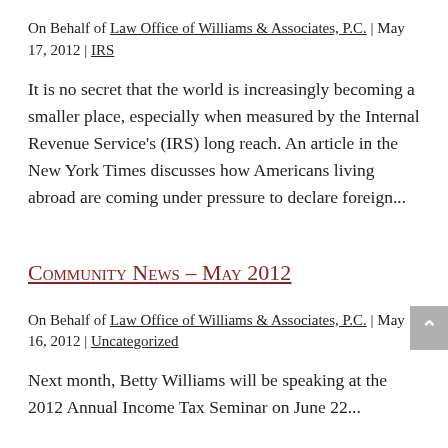On Behalf of Law Office of Williams & Associates, P.C. | May 17, 2012 | IRS
It is no secret that the world is increasingly becoming a smaller place, especially when measured by the Internal Revenue Service's (IRS) long reach. An article in the New York Times discusses how Americans living abroad are coming under pressure to declare foreign...
Community News – May 2012
On Behalf of Law Office of Williams & Associates, P.C. | May 16, 2012 | Uncategorized
Next month, Betty Williams will be speaking at the 2012 Annual Income Tax Seminar on June 22...